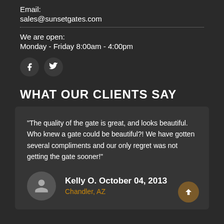Email:
sales@sunsetgates.com
We are open:
Monday - Friday 8:00am - 4:00pm
[Figure (illustration): Social media icons: Facebook and Twitter, in dark circular buttons]
WHAT OUR CLIENTS SAY
“The quality of the gate is great, and looks beautiful. Who knew a gate could be beautiful?! We have gotten several compliments and our only regret was not getting the gate sooner!”
Kelly O. October 04, 2013
Chandler, AZ